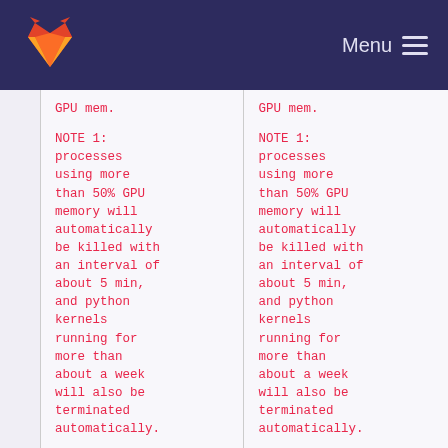GitLab — Menu
GPU mem.

NOTE 1: processes using more than 50% GPU memory will automatically be killed with an interval of about 5 min, and python kernels running for more than about a week will also be terminated automatically.
GPU mem.

NOTE 1: processes using more than 50% GPU memory will automatically be killed with an interval of about 5 min, and python kernels running for more than about a week will also be terminated automatically.